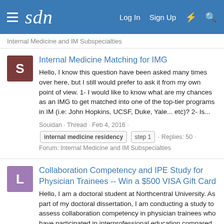sdn — Log In  Sign Up
Internal Medicine and IM Subspecialties
Internal Medicine Matching for IMG
Hello, I know this question have been asked many times over here, but I still would prefer to ask it from my own point of view. 1- I would like to know what are my chances as an IMG to get matched into one of the top-tier programs in IM (i.e: John Hopkins, UCSF, Duke, Yale... etc)? 2- Is...
Souidan · Thread · Feb 4, 2016 · internal medicine residency  step 1 · Replies: 50 · Forum: Internal Medicine and IM Subspecialties
Collaboration Competency and IPE Study for Physician Trainees -- Win a $500 VISA Gift Card
Hello, I am a doctoral student at Northcentral University. As part of my doctoral dissertation, I am conducting a study to assess collaboration competency in physician trainees who have participated in interprofessional education compared to those who have not. You must be a physician trainee...